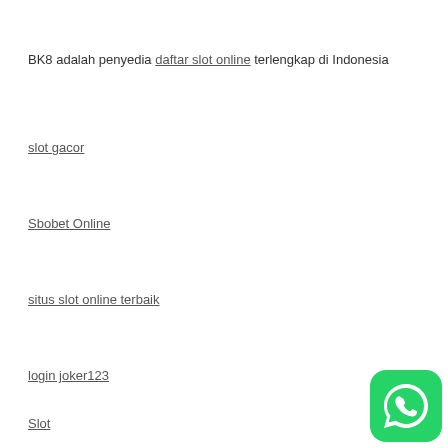BK8 adalah penyedia daftar slot online terlengkap di Indonesia
slot gacor
Sbobet Online
situs slot online terbaik
login joker123
Slot
[Figure (logo): WhatsApp icon — green rounded square with white phone handset]